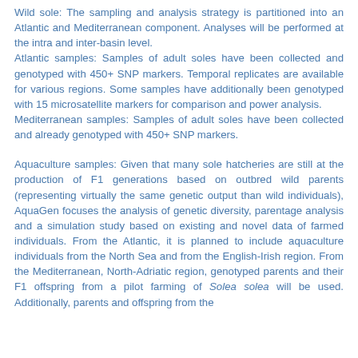Wild sole: The sampling and analysis strategy is partitioned into an Atlantic and Mediterranean component. Analyses will be performed at the intra and inter-basin level.
Atlantic samples: Samples of adult soles have been collected and genotyped with 450+ SNP markers. Temporal replicates are available for various regions. Some samples have additionally been genotyped with 15 microsatellite markers for comparison and power analysis.
Mediterranean samples: Samples of adult soles have been collected and already genotyped with 450+ SNP markers.
Aquaculture samples: Given that many sole hatcheries are still at the production of F1 generations based on outbred wild parents (representing virtually the same genetic output than wild individuals), AquaGen focuses the analysis of genetic diversity, parentage analysis and a simulation study based on existing and novel data of farmed individuals. From the Atlantic, it is planned to include aquaculture individuals from the North Sea and from the English-Irish region. From the Mediterranean, North-Adriatic region, genotyped parents and their F1 offspring from a pilot farming of Solea solea will be used. Additionally, parents and offspring from the